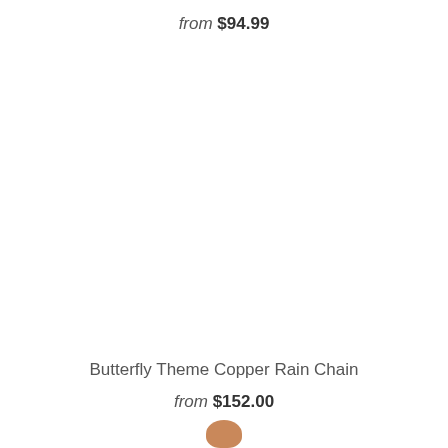from $94.99
Butterfly Theme Copper Rain Chain
from $152.00
[Figure (photo): Partial thumbnail image of a product, showing a copper/orange colored object at the bottom of the page.]